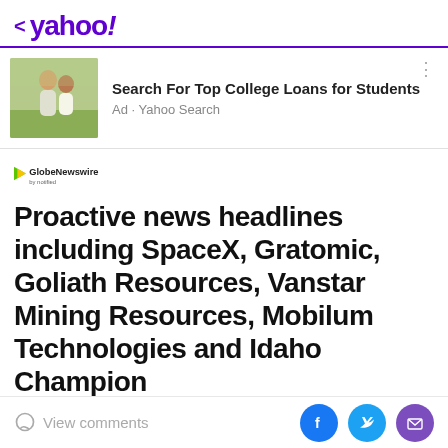< yahoo!
[Figure (photo): Advertisement banner with photo of two young women laughing outdoors, with text 'Search For Top College Loans for Students' and 'Ad • Yahoo Search']
[Figure (logo): GlobeNewswire by notified logo]
Proactive news headlines including SpaceX, Gratomic, Goliath Resources, Vanstar Mining Resources, Mobilum Technologies and Idaho Champion
Proactive
View comments  [Facebook] [Twitter] [Mail]